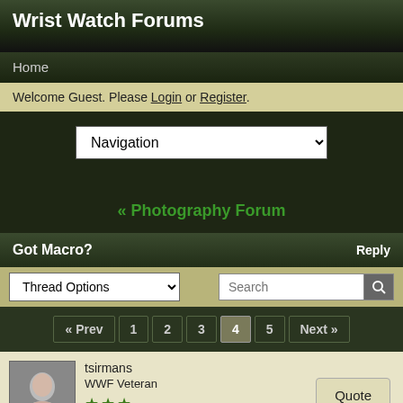Wrist Watch Forums
Home
Welcome Guest. Please Login or Register.
Navigation
« Photography Forum
Got Macro?
Reply
Thread Options
Search
« Prev  1  2  3  4  5  Next »
tsirmans
WWF Veteran
Mar 15, 2015 at 6:12pm
Quote